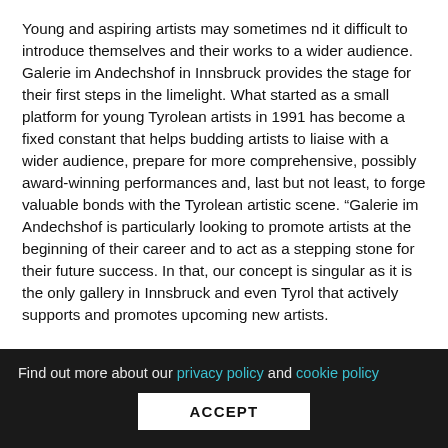Young and aspiring artists may sometimes nd it difficult to introduce themselves and their works to a wider audience. Galerie im Andechshof in Innsbruck provides the stage for their first steps in the limelight. What started as a small platform for young Tyrolean artists in 1991 has become a fixed constant that helps budding artists to liaise with a wider audience, prepare for more comprehensive, possibly award-winning performances and, last but not least, to forge valuable bonds with the Tyrolean artistic scene. “Galerie im Andechshof is particularly looking to promote artists at the beginning of their career and to act as a stepping stone for their future success. In that, our concept is singular as it is the only gallery in Innsbruck and even Tyrol that actively supports and promotes upcoming new artists.
Find out more about our privacy policy and cookie policy  ACCEPT